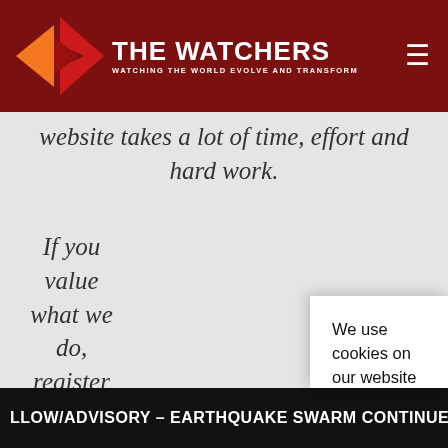THE WATCHERS — WATCHING THE WORLD EVOLVE AND TRANSFORM
website takes a lot of time, effort and hard work.
If you value what we do, register your ad-free account today and support our
We use cookies on our website to give you the most relevant experience by remembering your preferences and repeat visits. By clicking “Accept”, you consent to the use of ALL the cookies.
Do not sell my personal information.
Cookie settings   Accept
LLOW/ADVISORY – EARTHQUAKE SWARM CONTINUES IN MANU